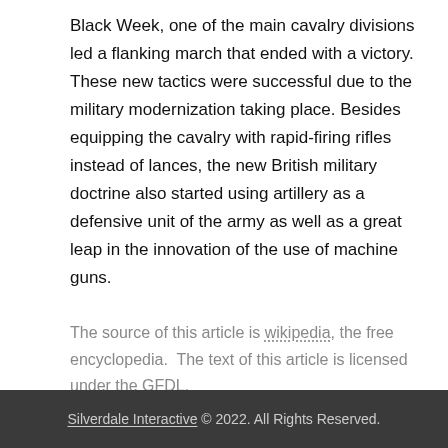Black Week, one of the main cavalry divisions led a flanking march that ended with a victory. These new tactics were successful due to the military modernization taking place. Besides equipping the cavalry with rapid-firing rifles instead of lances, the new British military doctrine also started using artillery as a defensive unit of the army as well as a great leap in the innovation of the use of machine guns.
The source of this article is wikipedia, the free encyclopedia.  The text of this article is licensed under the GFDL.
Silverdale Interactive © 2022. All Rights Reserved.